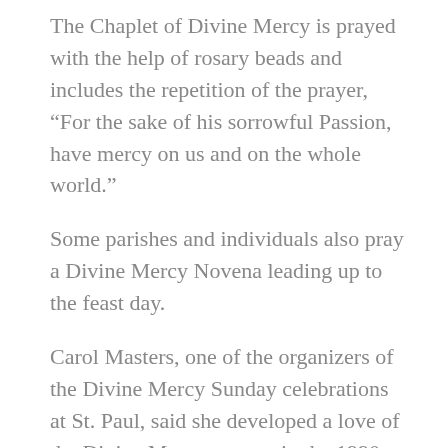The Chaplet of Divine Mercy is prayed with the help of rosary beads and includes the repetition of the prayer, “For the sake of his sorrowful Passion, have mercy on us and on the whole world.”
Some parishes and individuals also pray a Divine Mercy Novena leading up to the feast day.
Carol Masters, one of the organizers of the Divine Mercy Sunday celebrations at St. Paul, said she developed a love of the Divine Mercy prayers in the 1990s when she lived in West Virginia.
“Knowing how he died for us, he